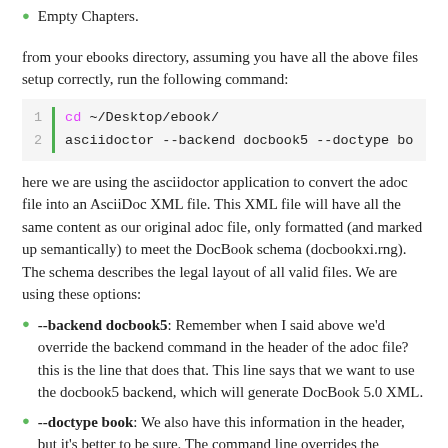Empty Chapters.
from your ebooks directory, assuming you have all the above files setup correctly, run the following command:
here we are using the asciidoctor application to convert the adoc file into an AsciiDoc XML file. This XML file will have all the same content as our original adoc file, only formatted (and marked up semantically) to meet the DocBook schema (docbookxi.rng). The schema describes the legal layout of all valid files. We are using these options:
--backend docbook5: Remember when I said above we'd override the backend command in the header of the adoc file? this is the line that does that. This line says that we want to use the docbook5 backend, which will generate DocBook 5.0 XML.
--doctype book: We also have this information in the header, but it's better to be sure. The command line overrides the